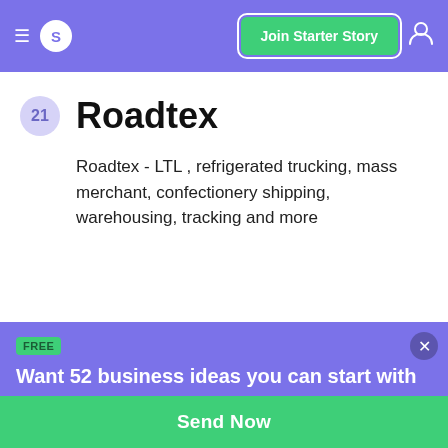S  Join Starter Story
21  Roadtex
Roadtex - LTL , refrigerated trucking, mass merchant, confectionery shipping, warehousing, tracking and more
FREE
Want 52 business ideas you can start with less than $1,000?
Your email
Send Now